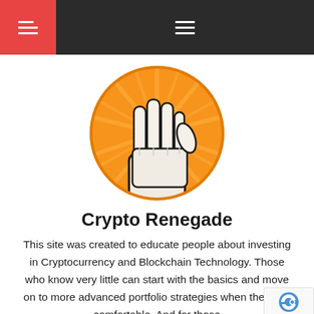Navigation header with hamburger menus
[Figure (logo): Crypto Renegade logo: a raised fist gripping a Bitcoin coin, set against an orange circular sunburst background]
Crypto Renegade
This site was created to educate people about investing in Cryptocurrency and Blockchain Technology. Those who know very little can start with the basics and move on to more advanced portfolio strategies when they feel comfortable. And for those